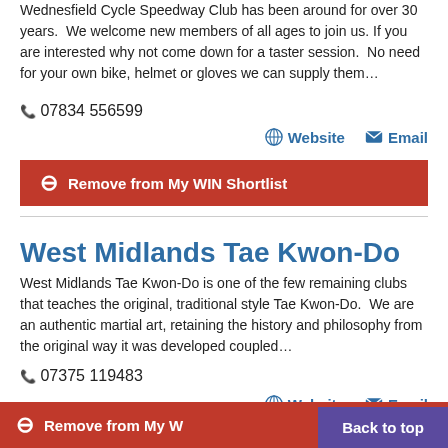Wednesfield Cycle Speedway Club has been around for over 30 years. We welcome new members of all ages to join us. If you are interested why not come down for a taster session. No need for your own bike, helmet or gloves we can supply them…
📞 07834 556599
Website  Email
⊖ Remove from My WIN Shortlist
West Midlands Tae Kwon-Do
West Midlands Tae Kwon-Do is one of the few remaining clubs that teaches the original, traditional style Tae Kwon-Do. We are an authentic martial art, retaining the history and philosophy from the original way it was developed coupled…
📞 07375 119483
Website  Email
⊖ Remove from My WIN Shortlist
Back to top